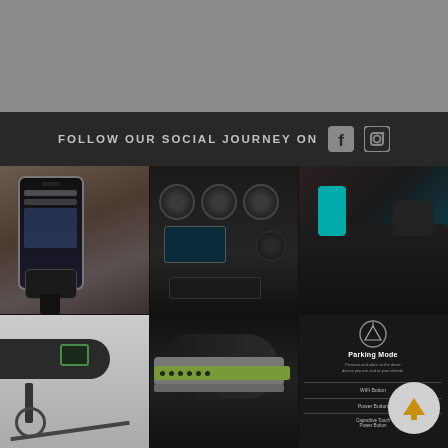[Figure (photo): Gray background area at top of page (image area above social bar)]
FOLLOW OUR SOCIAL JOURNEY ON (Facebook and Instagram icons)
[Figure (photo): Grid of 6 product lifestyle photos: phone mount, car interior, bag/luggage, person on bike with smartwatch, wristband worn on arm, and app screenshot showing Parking Mode with WiFi Button, Power Button, Capacitive Touch Power Button labels. A circular arrow-up button overlay appears on the bottom right photo.]